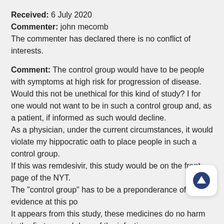Received: 6 July 2020
Commenter: john mecomb
The commenter has declared there is no conflict of interests.
Comment: The control group would have to be people with symptoms at high risk for progression of disease. Would this not be unethical for this kind of study? I for one would not want to be in such a control group and, as a patient, if informed as such would decline.
As a physician, under the current circumstances, it would violate my hippocratic oath to place people in such a control group.
If this was remdesivir, this study would be on the front page of the NYT.
The "control group" has to be a preponderance of the evidence at this po...
It appears from this study, these medicines do no harm in the first several days of the infection.